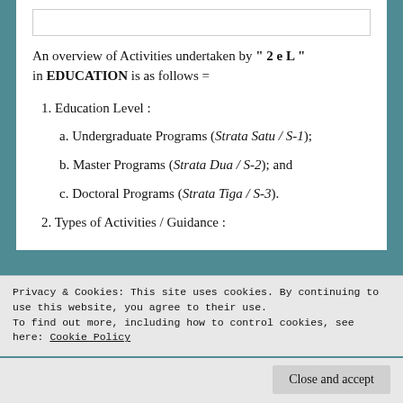An overview of Activities undertaken by "2 e L" in EDUCATION is as follows =
1. Education Level :
a. Undergraduate Programs (Strata Satu / S-1);
b. Master Programs (Strata Dua / S-2); and
c. Doctoral Programs (Strata Tiga / S-3).
2. Types of Activities / Guidance :
Privacy & Cookies: This site uses cookies. By continuing to use this website, you agree to their use. To find out more, including how to control cookies, see here: Cookie Policy
Proposal (Paper, Thesis, and/or